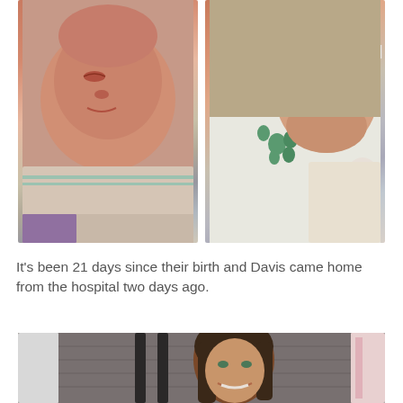[Figure (photo): Two side-by-side close-up photos of newborn babies. Left photo shows a very premature baby with reddish skin. Right photo shows another newborn baby with a nasal cannula tube, wrapped in a striped hospital blanket.]
It's been 21 days since their birth and Davis came home from the hospital two days ago.
[Figure (photo): Photo of a smiling woman with long dark brown hair, seated in front of a dark gray wooden wall, with white and pink decorative elements visible on the sides.]